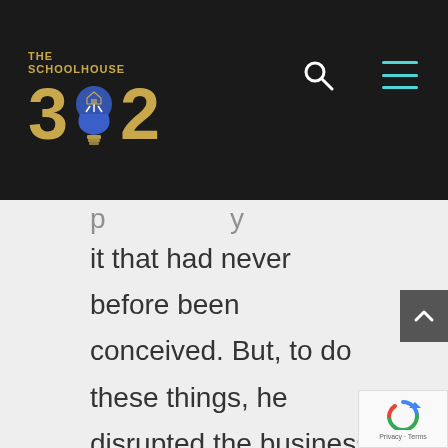[Figure (logo): The Schoolhouse 302 logo with a lightbulb as the zero in '302', rendered in gold/blue on dark background with search and hamburger menu icons]
it that had never before been conceived. But, to do these things, he disrupted the business world, the status quo in more than one industry, and our modern culture as we